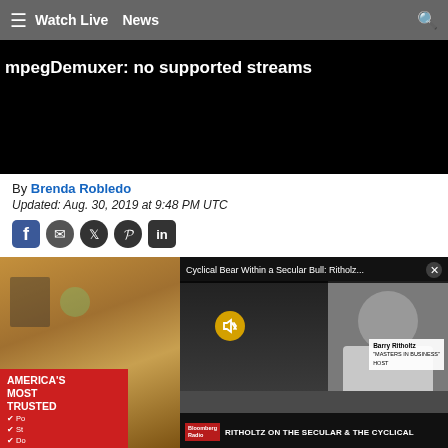≡  Watch Live  News  🔍
[Figure (screenshot): Video player showing error message: mpegDemuxer: no supported streams on black background]
By Brenda Robledo
Updated: Aug. 30, 2019 at 9:48 PM UTC
[Figure (screenshot): Social media share icons: Facebook, Mail, Twitter, Pinterest, LinkedIn]
[Figure (screenshot): News page with two videos: left shows wooden bookshelf scene; right is Bloomberg PIP video with title 'Cyclical Bear Within a Secular Bull: Ritholz...' and lower bar 'RITHOLTZ ON THE SECULAR & THE CYCLICAL'. America's Most Trusted overlay bottom left. Barry Ritholtz host label visible.]